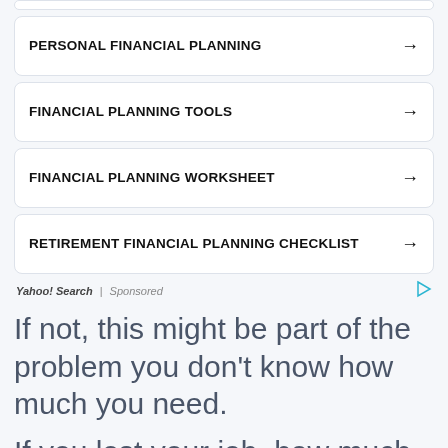PERSONAL FINANCIAL PLANNING →
FINANCIAL PLANNING TOOLS →
FINANCIAL PLANNING WORKSHEET →
RETIREMENT FINANCIAL PLANNING CHECKLIST →
Yahoo! Search | Sponsored
If not, this might be part of the problem you don't know how much you need.
If you lost your job, how much money
Search for
1. FINANCIAL PLANNING BASICS ›
2. BUSINESS PLAN DOWNLOAD ›